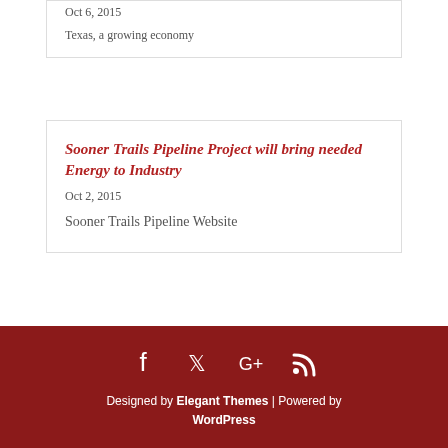Oct 6, 2015
Texas, a growing economy
Sooner Trails Pipeline Project will bring needed Energy to Industry
Oct 2, 2015
Sooner Trails Pipeline Website
Designed by Elegant Themes | Powered by WordPress